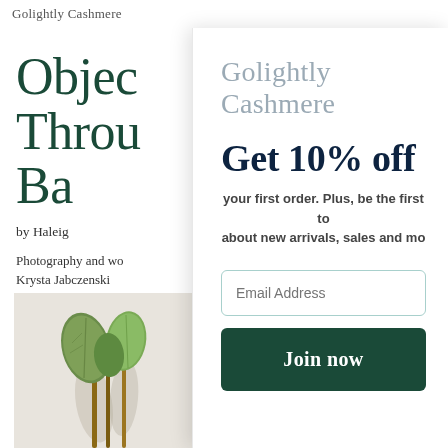Golightly Cashmere
Objec
Throu
Ba
by Haleig
Photography and wo
Krysta Jabczenski
[Figure (photo): Green plant leaves against a light wall background]
[Figure (logo): Golightly Cashmere logo in light blue-grey serif font]
Get 10% off
your first order. Plus, be the first to
about new arrivals, sales and mo
Email Address
Join now